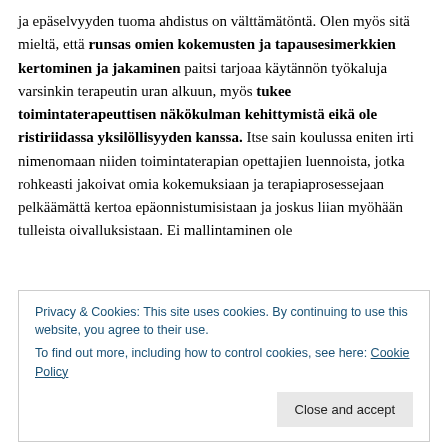ja epäselvyyden tuoma ahdistus on välttämätöntä. Olen myös sitä mieltä, että runsas omien kokemusten ja tapausesimerkkien kertominen ja jakaminen paitsi tarjoaa käytännön työkaluja varsinkin terapeutin uran alkuun, myös tukee toimintaterapeuttisen näkökulman kehittymistä eikä ole ristiriidassa yksilöllisyyden kanssa. Itse sain koulussa eniten irti nimenomaan niiden toimintaterapian opettajien luennoista, jotka rohkeasti jakoivat omia kokemuksiaan ja terapiaprosessejaan pelkäämättä kertoa epäonnistumisistaan ja joskus liian myöhään tulleista oivalluksistaan. Ei mallintaminen ole
Privacy & Cookies: This site uses cookies. By continuing to use this website, you agree to their use.
To find out more, including how to control cookies, see here: Cookie Policy